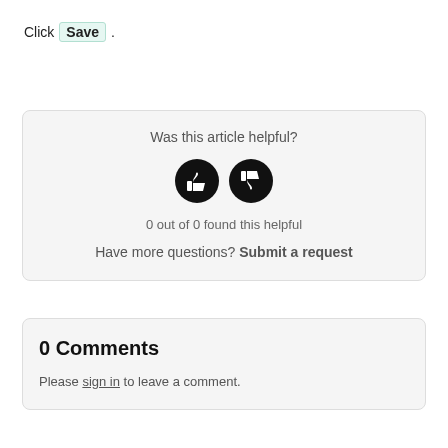Click Save .
Was this article helpful?
[Figure (illustration): Two circular black buttons: thumbs up and thumbs down icons]
0 out of 0 found this helpful
Have more questions? Submit a request
0 Comments
Please sign in to leave a comment.